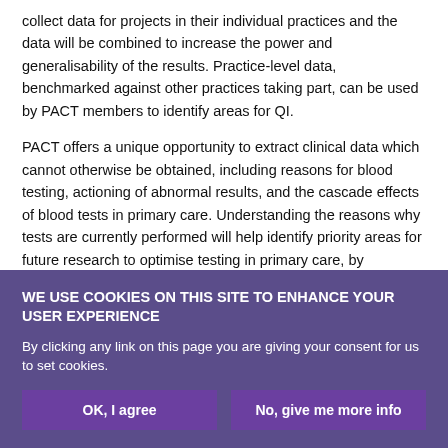collect data for projects in their individual practices and the data will be combined to increase the power and generalisability of the results. Practice-level data, benchmarked against other practices taking part, can be used by PACT members to identify areas for QI.
PACT offers a unique opportunity to extract clinical data which cannot otherwise be obtained, including reasons for blood testing, actioning of abnormal results, and the cascade effects of blood tests in primary care. Understanding the reasons why tests are currently performed will help identify priority areas for future research to optimise testing in primary care, by identifying clinical areas associated with high volumes of tests, and low yield of abnormal
WE USE COOKIES ON THIS SITE TO ENHANCE YOUR USER EXPERIENCE
By clicking any link on this page you are giving your consent for us to set cookies.
OK, I agree | No, give me more info